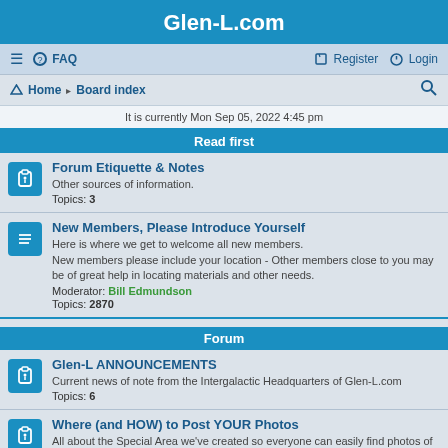Glen-L.com
≡  FAQ   Register  Login
Home · Board index
It is currently Mon Sep 05, 2022 4:45 pm
Read first
Forum Etiquette & Notes
Other sources of information.
Topics: 3
New Members, Please Introduce Yourself
Here is where we get to welcome all new members.
New members please include your location - Other members close to you may be of great help in locating materials and other needs.
Moderator: Bill Edmundson
Topics: 2870
Forum
Glen-L ANNOUNCEMENTS
Current news of note from the Intergalactic Headquarters of Glen-L.com
Topics: 6
Where (and HOW) to Post YOUR Photos
All about the Special Area we've created so everyone can easily find photos of your boat/build.
Topics: 1